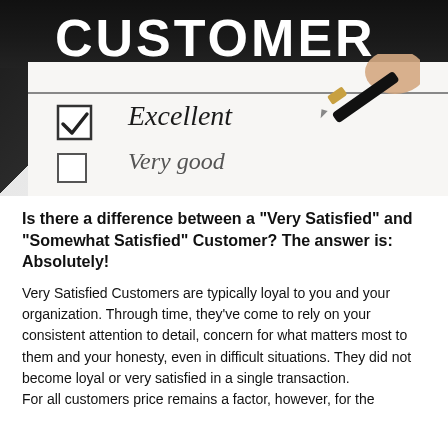[Figure (photo): Photo of a customer satisfaction survey form showing checkboxes labeled 'Excellent' (checked with a tick) and 'Very good' (unchecked), with a pen held by a hand poised over the form. The top of the form has a dark bar with 'CUSTOMER' text visible.]
Is there a difference between a “Very Satisfied” and “Somewhat Satisfied” Customer? The answer is: Absolutely!
Very Satisfied Customers are typically loyal to you and your organization. Through time, they’ve come to rely on your consistent attention to detail, concern for what matters most to them and your honesty, even in difficult situations. They did not become loyal or very satisfied in a single transaction.
For all customers price remains a factor, however, for the